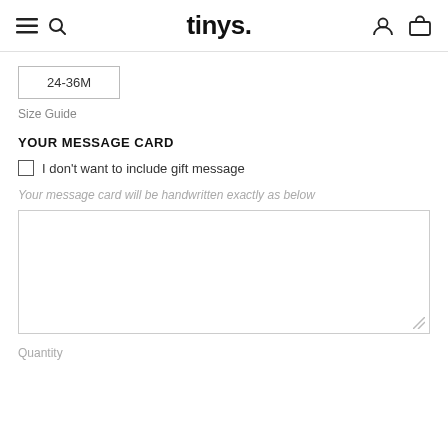tinys.
24-36M
Size Guide
YOUR MESSAGE CARD
I don't want to include gift message
Your message card will be handwritten exactly as below
Quantity